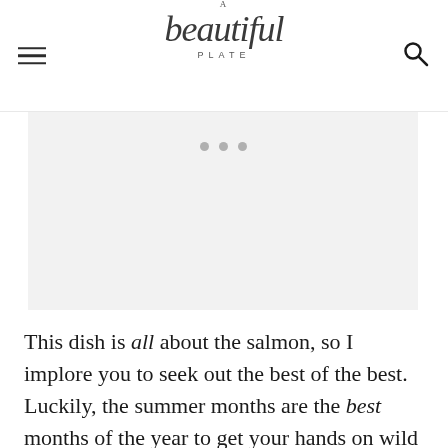A Beautiful Plate
[Figure (other): Advertisement placeholder with three dots]
This dish is all about the salmon, so I implore you to seek out the best of the best. Luckily, the summer months are the best months of the year to get your hands on wild Alaskan salmon. I was incredibly fortunate to be on the receiving end